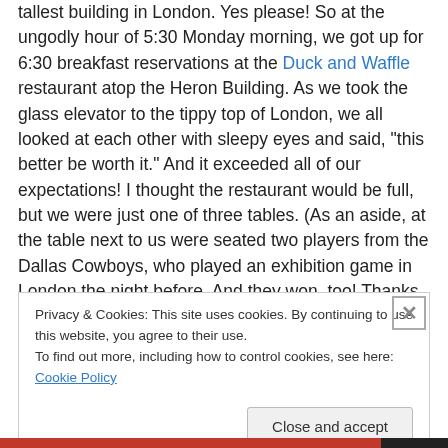tallest building in London. Yes please! So at the ungodly hour of 5:30 Monday morning, we got up for 6:30 breakfast reservations at the Duck and Waffle restaurant atop the Heron Building. As we took the glass elevator to the tippy top of London, we all looked at each other with sleepy eyes and said, "this better be worth it." And it exceeded all of our expectations! I thought the restaurant would be full, but we were just one of three tables. (As an aside, at the table next to us were seated two players from the Dallas Cowboys, who played an exhibition game in London the night before. And they won, too! Thanks for the
Privacy & Cookies: This site uses cookies. By continuing to use this website, you agree to their use. To find out more, including how to control cookies, see here: Cookie Policy